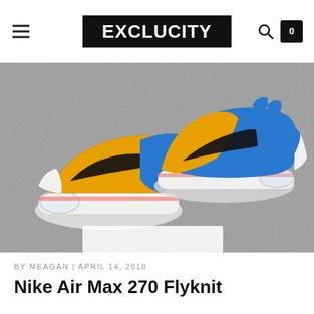EXCLUCITY
[Figure (photo): Top-down view of two Nike Air Max 270 Flyknit sneakers in blue and yellow/gold colorway with black Nike swoosh, white midsole, and transparent air bubble heel unit, placed on a grey concrete surface]
BY MEAGAN | APRIL 14, 2018
Nike Air Max 270 Flyknit